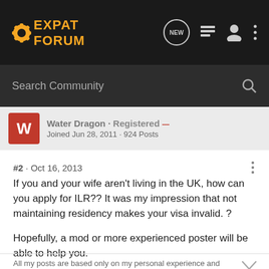EXPAT FORUM
Search Community
Water Dragon · Registered
Joined Jun 28, 2011 · 924 Posts
#2 · Oct 16, 2013
If you and your wife aren't living in the UK, how can you apply for ILR?? It was my impression that not maintaining residency makes your visa invalid. ?

Hopefully, a mod or more experienced poster will be able to help you.
All my posts are based only on my personal experience and opinions. I am not experienced in immigration matters and only offer